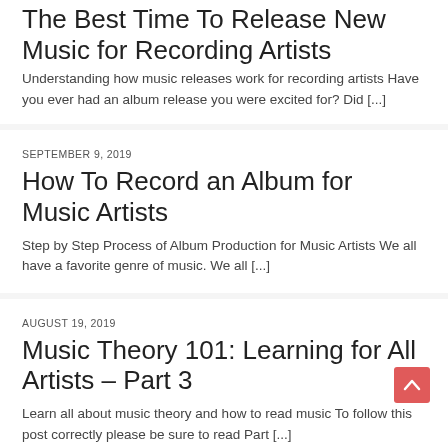The Best Time To Release New Music for Recording Artists
Understanding how music releases work for recording artists Have you ever had an album release you were excited for? Did [...]
SEPTEMBER 9, 2019
How To Record an Album for Music Artists
Step by Step Process of Album Production for Music Artists We all have a favorite genre of music. We all [...]
AUGUST 19, 2019
Music Theory 101: Learning for All Artists – Part 3
Learn all about music theory and how to read music To follow this post correctly please be sure to read Part [...]
AUGUST 12, 2019